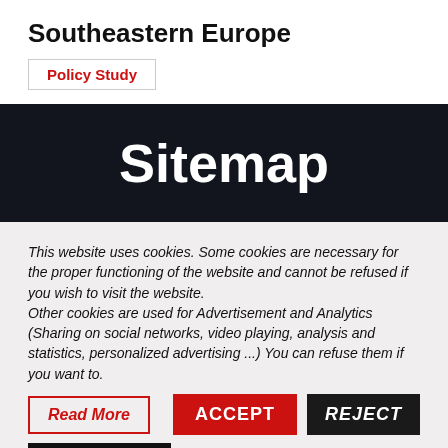Southeastern Europe
Policy Study
Sitemap
This website uses cookies. Some cookies are necessary for the proper functioning of the website and cannot be refused if you wish to visit the website.
Other cookies are used for Advertisement and Analytics (Sharing on social networks, video playing, analysis and statistics, personalized advertising ...) You can refuse them if you want to.
Read More
ACCEPT
REJECT
Cookie settings